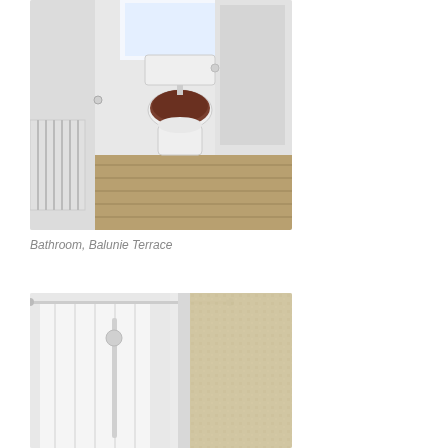[Figure (photo): Interior bathroom photo showing toilet with dark wooden seat, radiator on left wall, wooden floor, white walls, and frosted glass window above toilet. Photo taken from doorway looking in.]
Bathroom, Balunie Terrace
[Figure (photo): Interior bathroom photo showing shower area with white shower curtain on rail, white walls, and frosted/patterned glass panel on right side.]